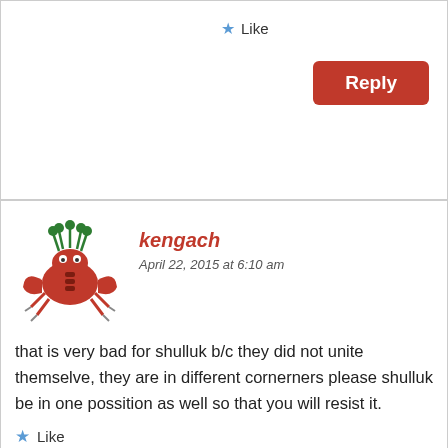Like
Reply
kengach
April 22, 2015 at 6:10 am
that is very bad for shulluk b/c they did not unite themselve, they are in different cornerners please shulluk be in one possition as well so that you will resist it.
Like
Reply
Advertisements
Professionally designed sites in less than a week